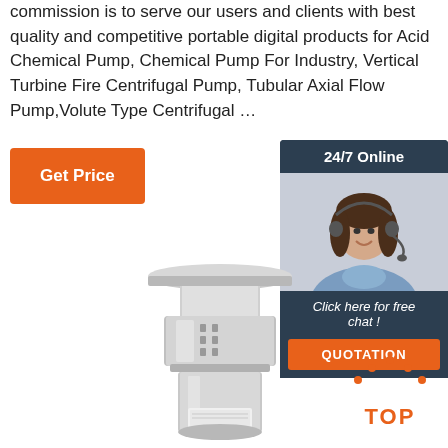commission is to serve our users and clients with best quality and competitive portable digital products for Acid Chemical Pump, Chemical Pump For Industry, Vertical Turbine Fire Centrifugal Pump, Tubular Axial Flow Pump, Volute Type Centrifugal …
Get Price
[Figure (screenshot): Sidebar widget with dark navy background showing '24/7 Online' header, photo of smiling woman with headset, text 'Click here for free chat!' and orange QUOTATION button]
[Figure (photo): Industrial vertical stainless steel submersible pump with flanged top and cylindrical motor body]
[Figure (illustration): Orange 'TOP' back-to-top button with dot arc above the text]